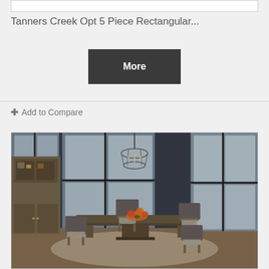[Figure (other): Top portion of a product image (white box, partially visible)]
Tanners Creek Opt 5 Piece Rectangular...
More
+ Add to Compare
[Figure (photo): Dining room scene with a rectangular dark wood table surrounded by upholstered chairs, a hutch/bookcase on the left, large windows with dark walls, and an industrial chandelier overhead. Flowers on the table.]